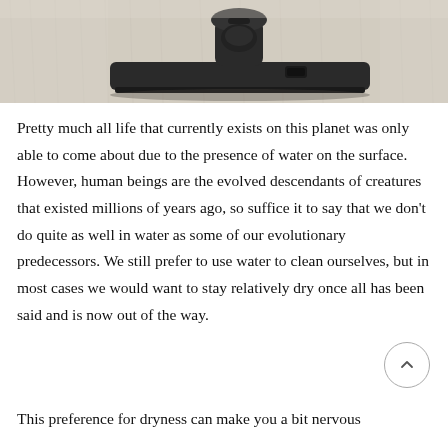[Figure (photo): Close-up photo of a black vacuum cleaner brush head on a light beige/cream carpet]
Pretty much all life that currently exists on this planet was only able to come about due to the presence of water on the surface. However, human beings are the evolved descendants of creatures that existed millions of years ago, so suffice it to say that we don't do quite as well in water as some of our evolutionary predecessors. We still prefer to use water to clean ourselves, but in most cases we would want to stay relatively dry once all has been said and is now out of the way.
This preference for dryness can make you a bit nervous